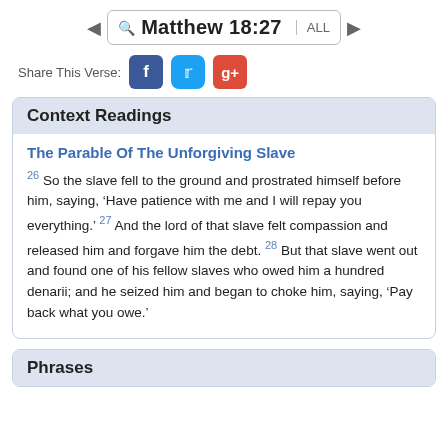Matthew 18:27 ALL
Share This Verse:
Context Readings
The Parable Of The Unforgiving Slave
26 So the slave fell to the ground and prostrated himself before him, saying, ‘Have patience with me and I will repay you everything.’ 27 And the lord of that slave felt compassion and released him and forgave him the debt. 28 But that slave went out and found one of his fellow slaves who owed him a hundred denarii; and he seized him and began to choke him, saying, ‘Pay back what you owe.’
Phrases